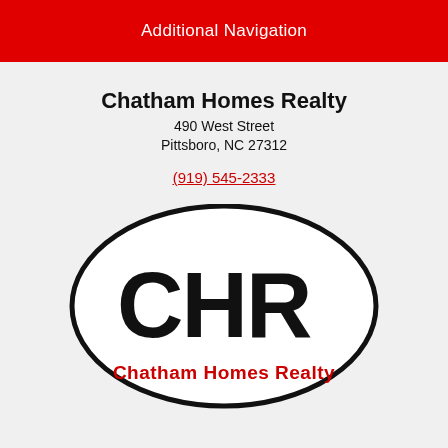Additional Navigation
Chatham Homes Realty
490 West Street
Pittsboro, NC 27312
(919) 545-2333
[Figure (logo): Oval logo with large black letters CHR and red text Chatham Homes Realty below]